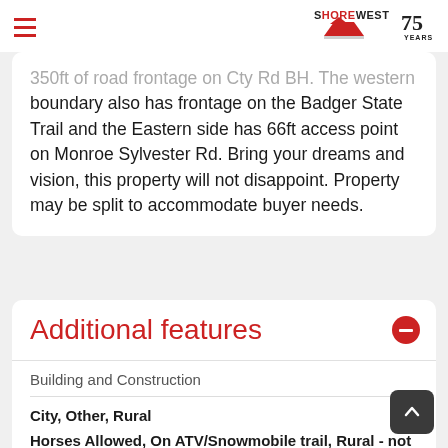Shorewest 75 Years
350ft of road frontage on Cty Rd BH. The western boundary also has frontage on the Badger State Trail and the Eastern side has 66ft access point on Monroe Sylvester Rd. Bring your dreams and vision, this property will not disappoint. Property may be split to accommodate buyer needs.
Additional features
Building and Construction
City, Other, Rural
Horses Allowed, On ATV/Snowmobile trail, Rural - not in subdivisn